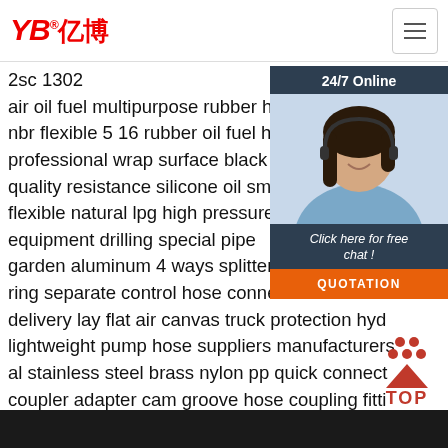[Figure (logo): YB亿博 company logo in red italic text with registered trademark symbol]
2sc 1302
air oil fuel multipurpose rubber hose
nbr flexible 5 16 rubber oil fuel hose w p 300ps
professional wrap surface black 3 4 inch hydra
quality resistance silicone oil smooth surface fu
flexible natural lpg high pressure pvc gas hose
equipment drilling special pipe
garden aluminum 4 ways splitter individual valv
ring separate control hose connector multifunci
delivery lay flat air canvas truck protection hyd
lightweight pump hose suppliers manufacturers
al stainless steel brass nylon pp quick connect
coupler adapter cam groove hose coupling fitti
112104c auto ac hose discharge line oem30636079 30780499
31250963 8623254 h8026 volvo xc90 2005-2011
[Figure (photo): Customer service agent photo - woman with headset, smiling, with 24/7 Online label and Click here for free chat text and QUOTATION button]
[Figure (other): TOP navigation icon with red triangle and dots above red TOP text]